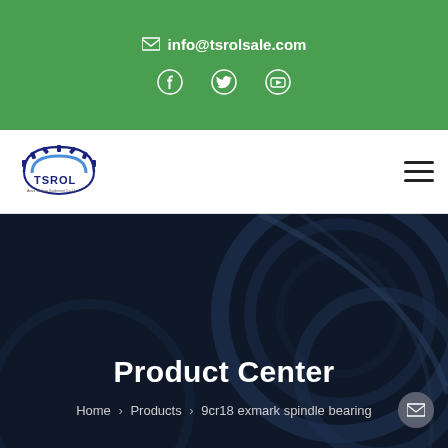info@tsrolsale.com
[Figure (logo): TSROL company logo with gear icon and text 'TSROL']
Product Center
Home > Products > 9cr18 exmark spindle bearing